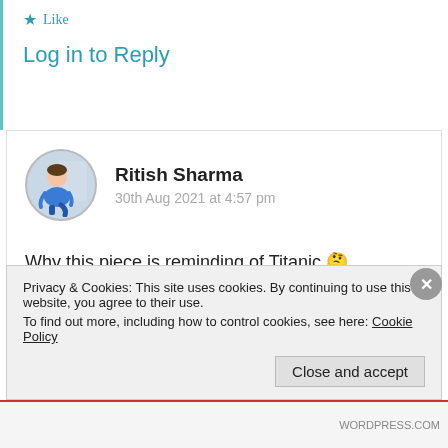★ Like
Log in to Reply
Ritish Sharma
30th Aug 2021 at 4:57 pm
Why this piece is reminding of Titanic 🤔
It captures the exact same feelings and ambience.
★ Liked by 1 person
Privacy & Cookies: This site uses cookies. By continuing to use this website, you agree to their use.
To find out more, including how to control cookies, see here: Cookie Policy
Close and accept